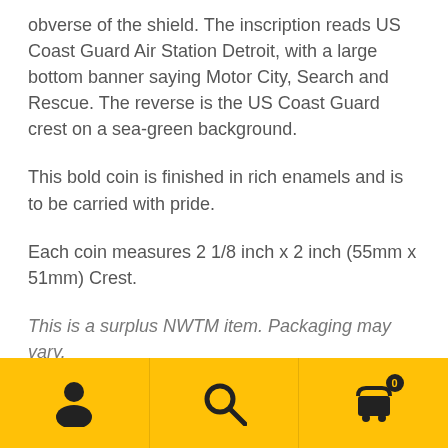obverse of the shield. The inscription reads US Coast Guard Air Station Detroit, with a large bottom banner saying Motor City, Search and Rescue. The reverse is the US Coast Guard crest on a sea-green background.
This bold coin is finished in rich enamels and is to be carried with pride.
Each coin measures 2 1/8 inch x 2 inch (55mm x 51mm) Crest.
This is a surplus NWTM item. Packaging may vary.
This coin features an out of date design and will not be remade after product is sold out.
[Figure (other): Yellow footer navigation bar with three icons: user/person icon, search/magnifying glass icon, and shopping cart icon with badge showing 0]